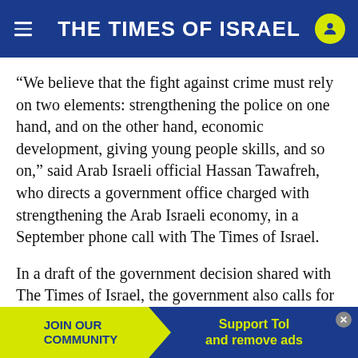THE TIMES OF ISRAEL
“We believe that the fight against crime must rely on two elements: strengthening the police on one hand, and on the other hand, economic development, giving young people skills, and so on,” said Arab Israeli official Hassan Tawafreh, who directs a government office charged with strengthening the Arab Israeli economy, in a September phone call with The Times of Israel.
In a draft of the government decision shared with The Times of Israel, the government also calls for wide-ranging operations by law enforcement against organized crime groups. The full decision was n…
[Figure (other): Advertisement banner: JOIN OUR COMMUNITY | Support ToI and remove ads]